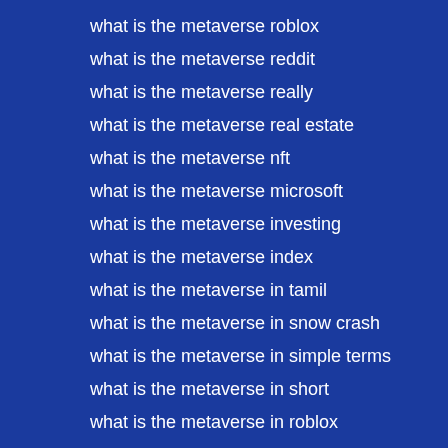what is the metaverse roblox
what is the metaverse reddit
what is the metaverse really
what is the metaverse real estate
what is the metaverse nft
what is the metaverse microsoft
what is the metaverse investing
what is the metaverse index
what is the metaverse in tamil
what is the metaverse in snow crash
what is the metaverse in simple terms
what is the metaverse in short
what is the metaverse in roblox
what is the metaverse in persona
what is the metaverse in microsoft
what is the metaverse in hindi